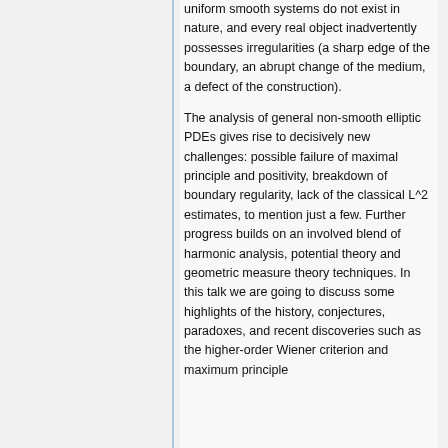uniform smooth systems do not exist in nature, and every real object inadvertently possesses irregularities (a sharp edge of the boundary, an abrupt change of the medium, a defect of the construction).
The analysis of general non-smooth elliptic PDEs gives rise to decisively new challenges: possible failure of maximal principle and positivity, breakdown of boundary regularity, lack of the classical L^2 estimates, to mention just a few. Further progress builds on an involved blend of harmonic analysis, potential theory and geometric measure theory techniques. In this talk we are going to discuss some highlights of the history, conjectures, paradoxes, and recent discoveries such as the higher-order Wiener criterion and maximum principle